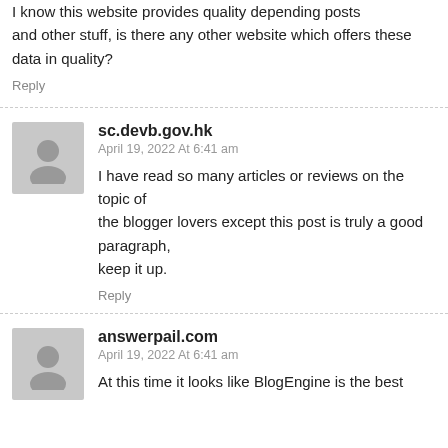I know this website provides quality depending posts and other stuff, is there any other website which offers these data in quality?
Reply
sc.devb.gov.hk
April 19, 2022 At 6:41 am
I have read so many articles or reviews on the topic of the blogger lovers except this post is truly a good paragraph, keep it up.
Reply
answerpail.com
April 19, 2022 At 6:41 am
At this time it looks like BlogEngine is the best